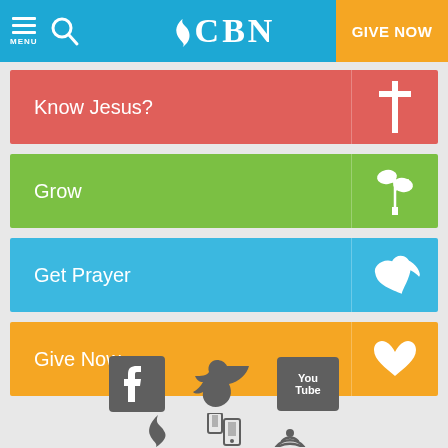CBN - GIVE NOW
Know Jesus?
Grow
Get Prayer
Give Now
[Figure (screenshot): Social media icons row: Facebook, Twitter, YouTube, and two more icons (CBN flame and mobile/RSS icons)]